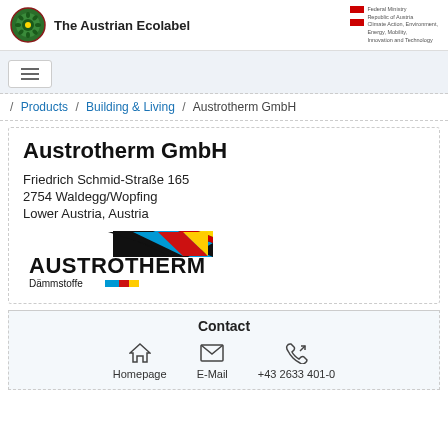The Austrian Ecolabel
[Figure (logo): Austrian Ecolabel circular green leaf logo]
[Figure (logo): Federal Ministry Republic of Austria - Climate Action, Environment, Energy, Mobility, Innovation and Technology logo with Austrian flag]
[Figure (schematic): Hamburger menu icon - three horizontal lines]
/ Products / Building & Living / Austrotherm GmbH
Austrotherm GmbH
Friedrich Schmid-Straße 165
2754 Waldegg/Wopfing
Lower Austria, Austria
[Figure (logo): Austrotherm Dämmstoffe logo with black, blue, red and yellow diagonal stripes]
Contact
Homepage
E-Mail
+43 2633 401-0